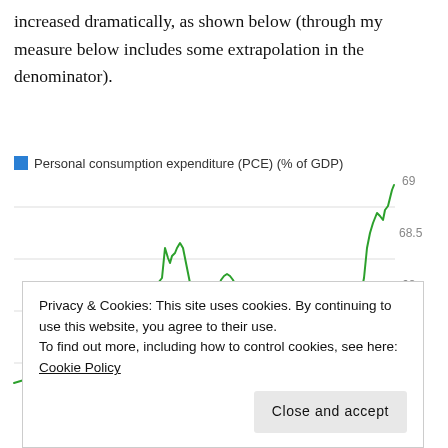increased dramatically, as shown below (through my measure below includes some extrapolation in the denominator).
[Figure (line-chart): Line chart showing PCE as % of GDP, ranging roughly from 67 to 69, with a volatile green line showing values fluctuating and trending upward, reaching ~69 at the right edge.]
Privacy & Cookies: This site uses cookies. By continuing to use this website, you agree to their use.
To find out more, including how to control cookies, see here: Cookie Policy